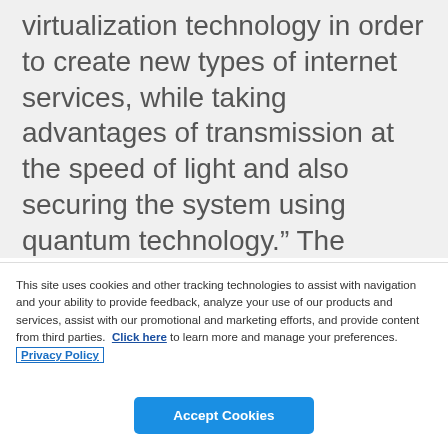virtualization technology in order to create new types of internet services, while taking advantages of transmission at the speed of light and also securing the system using quantum technology.” The University of Bristol research findings were presented at the
This site uses cookies and other tracking technologies to assist with navigation and your ability to provide feedback, analyze your use of our products and services, assist with our promotional and marketing efforts, and provide content from third parties. Click here to learn more and manage your preferences. Privacy Policy